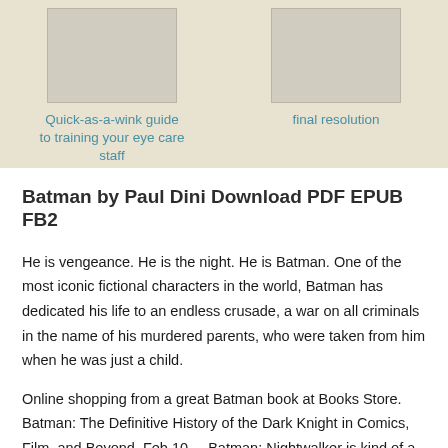[Figure (illustration): Book cover thumbnail placeholder, gray rectangle]
Quick-as-a-wink guide to training your eye care staff
[Figure (illustration): Book cover thumbnail placeholder, gray rectangle]
final resolution
Batman by Paul Dini Download PDF EPUB FB2
He is vengeance. He is the night. He is Batman. One of the most iconic fictional characters in the world, Batman has dedicated his life to an endless crusade, a war on all criminals in the name of his murdered parents, who were taken from him when he was just a child.
Online shopping from a great Batman book at Books Store. Batman: The Definitive History of the Dark Knight in Comics, Film, and Beyond. Feb 10,  · Batman: Nightwalker is kind of a misnomer, because Batman is not in this book, This is a Smallville version of Bruce Wayne before he was Batman when he turns This left a pretty good opportunity for content but it is just about 414...